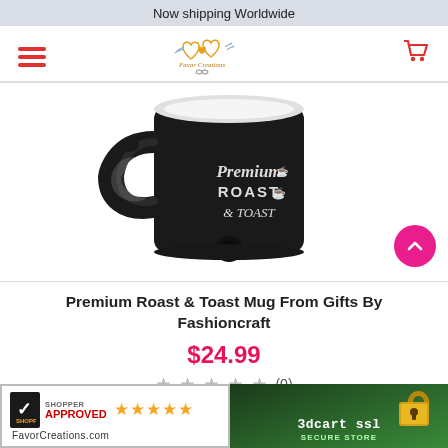Now shipping Worldwide
[Figure (logo): Favor Creations store logo with hearts and birds]
[Figure (photo): Black Premium Roast & Toast ceramic mug with handle and hole at bottom]
Premium Roast & Toast Mug From Gifts By Fashioncraft
$24.99
(0)
[Figure (logo): Shopper Approved badge with 5 gold stars and FavorCreations.com]
[Figure (logo): 3dcart SSL Secure Store badge with golden padlock]